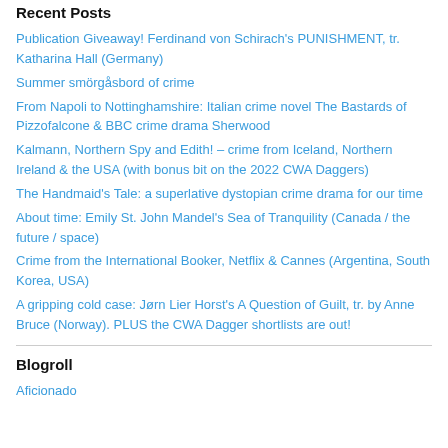Recent Posts
Publication Giveaway! Ferdinand von Schirach's PUNISHMENT, tr. Katharina Hall (Germany)
Summer smörgåsbord of crime
From Napoli to Nottinghamshire: Italian crime novel The Bastards of Pizzofalcone & BBC crime drama Sherwood
Kalmann, Northern Spy and Edith! – crime from Iceland, Northern Ireland & the USA (with bonus bit on the 2022 CWA Daggers)
The Handmaid's Tale: a superlative dystopian crime drama for our time
About time: Emily St. John Mandel's Sea of Tranquility (Canada / the future / space)
Crime from the International Booker, Netflix & Cannes (Argentina, South Korea, USA)
A gripping cold case: Jørn Lier Horst's A Question of Guilt, tr. by Anne Bruce (Norway). PLUS the CWA Dagger shortlists are out!
Blogroll
Aficionado